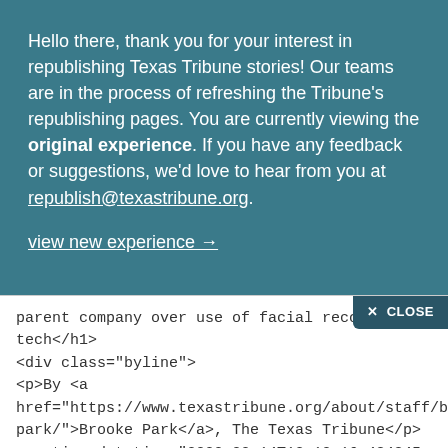Hello there, thank you for your interest in republishing Texas Tribune stories! Our teams are in the process of refreshing the Tribune's republishing pages. You are currently viewing the original experience. If you have any feedback or suggestions, we'd love to hear from you at republish@texastribune.org.
view new experience →
parent company over use of facial recognition tech</h1> <div class="byline"> <p>By <a href="https://www.texastribune.org/about/staff/brooke-park/">Brooke Park</a>, The Texas Tribune</p> <p><time datetime="2022-02-14T13:10:16.484845-0600">Feb. 14, 2022</time></p> </div> <p>"<a href="https://www.texastribune.org/2022/02/14/paxton-facebook-privacy-lawsuit/">Texas Attorney General Ken Paxton sues Facebook's parent company over use of facial recognition tech</a>" was first published by The Texas Tribune, a nonprofit, nonpartisan media organization that informs Texans — and engages with